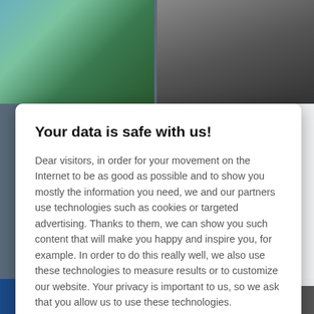[Figure (screenshot): Background webpage with mountain/forest photo top-left, dark mountain photo top-right, and partially visible sidebar content on the right edge]
Your data is safe with us!
Dear visitors, in order for your movement on the Internet to be as good as possible and to show you mostly the information you need, we and our partners use technologies such as cookies or targeted advertising. Thanks to them, we can show you such content that will make you happy and inspire you, for example. In order to do this really well, we also use these technologies to measure results or to customize our website. Your privacy is important to us, so we ask that you allow us to use these technologies.
Accept
Deny
Set